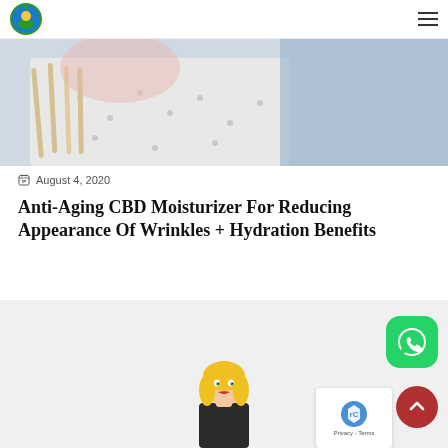Logo and navigation menu
[Figure (photo): Partial view of a person wearing a white polka-dot top near what appears to be rolled papers or sticks, with blue fabric in background]
August 4, 2020
Anti-Aging CBD Moisturizer For Reducing Appearance Of Wrinkles + Hydration Benefits
[Figure (illustration): Cartoon illustration of a blonde woman at bottom of page]
[Figure (logo): WhatsApp button (green rounded square icon)]
[Figure (other): Back to top button (dark red circle with upward chevron)]
Privacy - Terms